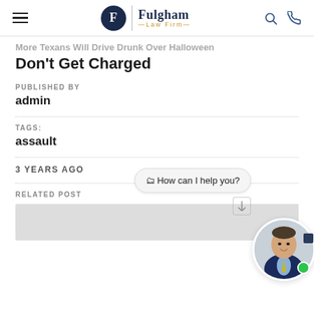Fulgham Law Firm
More Texans Will Drive Drunk Over Halloween – Don't Get Charged
PUBLISHED BY
admin
TAGS:
assault
3 YEARS AGO
RELATED POST
[Figure (photo): Chat widget with lawyer photo, speech bubble saying 'How can I help you?', and a green online indicator dot]